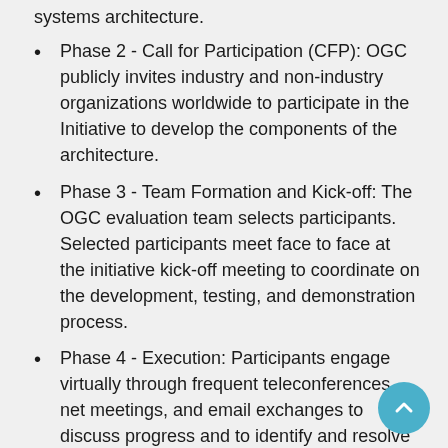systems architecture.
Phase 2 - Call for Participation (CFP): OGC publicly invites industry and non-industry organizations worldwide to participate in the Initiative to develop the components of the architecture.
Phase 3 - Team Formation and Kick-off: The OGC evaluation team selects participants. Selected participants meet face to face at the initiative kick-off meeting to coordinate on the development, testing, and demonstration process.
Phase 4 - Execution: Participants engage virtually through frequent teleconferences, net meetings, and email exchanges to discuss progress and to identify and resolve issues.
Phase 5 - Reporting, Demonstration and Outreach: Technology demonstrations occur